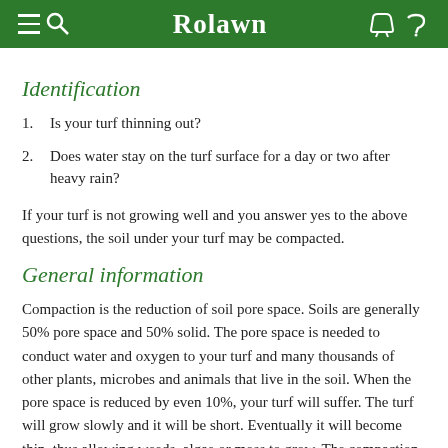Rolawn
Identification
Is your turf thinning out?
Does water stay on the turf surface for a day or two after heavy rain?
If your turf is not growing well and you answer yes to the above questions, the soil under your turf may be compacted.
General information
Compaction is the reduction of soil pore space. Soils are generally 50% pore space and 50% solid. The pore space is needed to conduct water and oxygen to your turf and many thousands of other plants, microbes and animals that live in the soil. When the pore space is reduced by even 10%, your turf will suffer. The turf will grow slowly and it will be short. Eventually it will become thin, thus allowing weeds, algae or moss to grow. The compaction